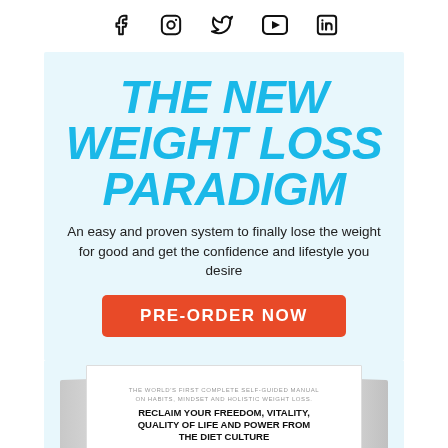Social media icons: Facebook, Instagram, Twitter, YouTube, LinkedIn
THE NEW WEIGHT LOSS PARADIGM
An easy and proven system to finally lose the weight for good and get the confidence and lifestyle you desire
PRE-ORDER NOW
[Figure (illustration): Book cover preview showing 'THE WORLD'S FIRST COMPLETE SELF-GUIDED MANUAL ON HABITS, MINDSET AND HOLISTIC WEIGHT LOSS. RECLAIM YOUR FREEDOM, VITALITY, QUALITY OF LIFE AND POWER FROM THE DIET CULTURE' with left and right page edges visible]